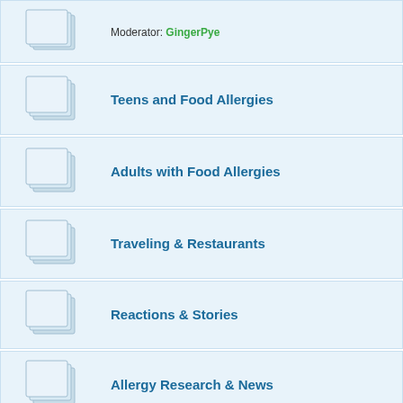Recall notices from the FDA & CFIA — Moderator: GingerPye
Teens and Food Allergies
Adults with Food Allergies
Traveling & Restaurants
Reactions & Stories
Allergy Research & News
Recipes & Cooking — Allergen-free & delicious!
Specific Food Allergies
Peanut/Tree Nut Allergy